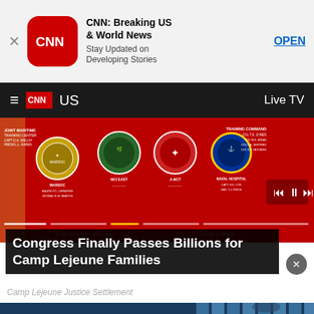[Figure (screenshot): CNN app advertisement banner with CNN logo, title 'CNN: Breaking US & World News', subtitle 'Stay Updated on Developing Stories', and OPEN button]
CNN  US  Live TV
[Figure (photo): Red military board with circular unit badges/seals including MARSOC, MCI East, and other Marine Corps units]
Congress Finally Passes Billions for Camp Lejeune Families
Camp Lejeune Justice Settlement
[Figure (photo): Woman lying back with head tilted up against blue panel/slatted background in dim blue lighting]